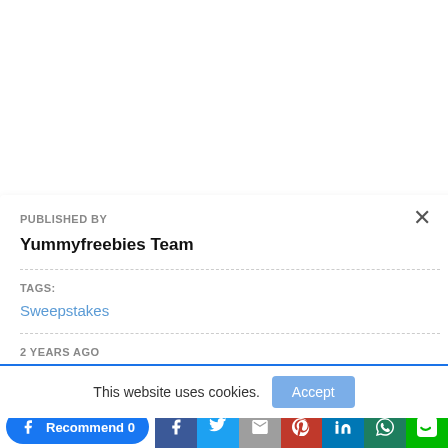PUBLISHED BY
Yummyfreebies Team
TAGS:
Sweepstakes
2 YEARS AGO
This website uses cookies.
Accept
Recommend 0